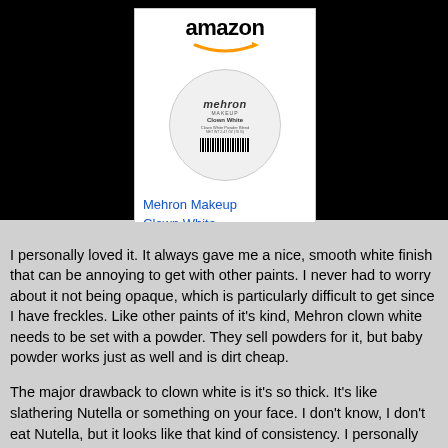[Figure (screenshot): Amazon advertisement for Mehron Makeup Clown White product showing amazon logo, product image in circular container, price $11.25 with Prime badge, and Shop now button]
I personally loved it. It always gave me a nice, smooth white finish that can be annoying to get with other paints. I never had to worry about it not being opaque, which is particularly difficult to get since I have freckles. Like other paints of it's kind, Mehron clown white needs to be set with a powder. They sell powders for it, but baby powder works just as well and is dirt cheap.
The major drawback to clown white is it's so thick. It's like slathering Nutella or something on your face. I don't know, I don't eat Nutella, but it looks like that kind of consistency. I personally don't mind it. A